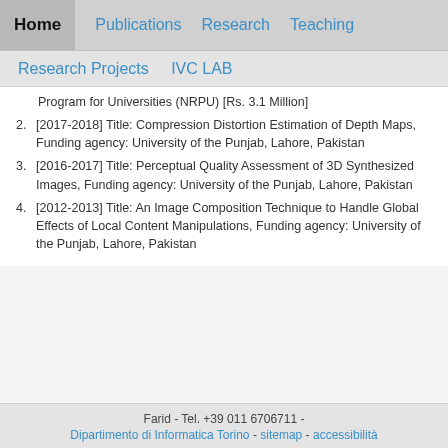Home  Publications  Research  Teaching
Research Projects  IVC LAB
Program for Universities (NRPU) [Rs. 3.1 Million]
2. [2017-2018] Title: Compression Distortion Estimation of Depth Maps, Funding agency: University of the Punjab, Lahore, Pakistan
3. [2016-2017] Title: Perceptual Quality Assessment of 3D Synthesized Images, Funding agency: University of the Punjab, Lahore, Pakistan
4. [2012-2013] Title: An Image Composition Technique to Handle Global Effects of Local Content Manipulations, Funding agency: University of the Punjab, Lahore, Pakistan
Farid - Tel. +39 011 6706711 - Dipartimento di Informatica Torino - sitemap - accessibilità